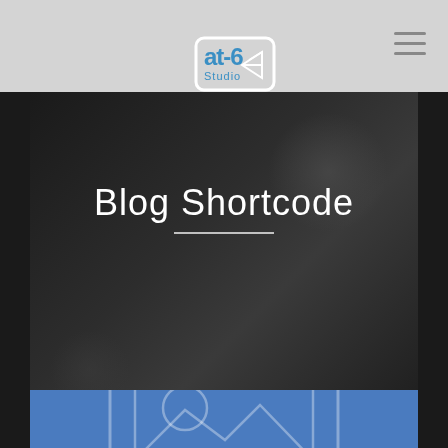[Figure (logo): at-6 Studio logo with text and paper airplane icon inside a rounded rectangle, blue color]
[Figure (other): Hamburger menu icon with three horizontal lines on the top right of the navigation bar]
Blog Shortcode
[Figure (photo): Blue image placeholder with a stylized image icon (mountain and circle/sun inside nested rectangles) indicating a placeholder for a blog post image]